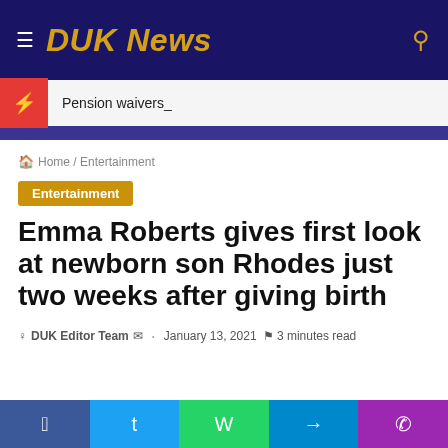DUK News
Pension waivers_
Home / Entertainment
Entertainment
Emma Roberts gives first look at newborn son Rhodes just two weeks after giving birth
DUK Editor Team · January 13, 2021 3 minutes read